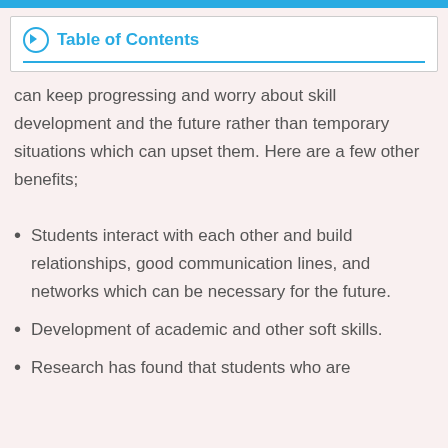Table of Contents
can keep progressing and worry about skill development and the future rather than temporary situations which can upset them. Here are a few other benefits;
Students interact with each other and build relationships, good communication lines, and networks which can be necessary for the future.
Development of academic and other soft skills.
Research has found that students who are